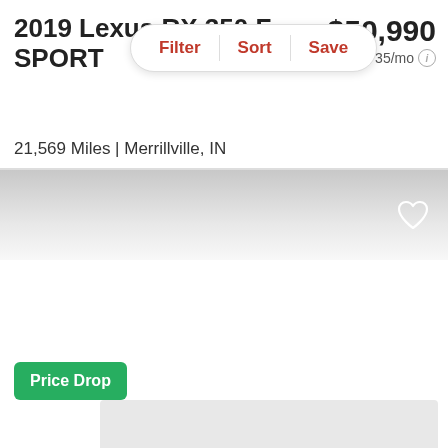2019 Lexus RX 350 F SPORT
$50,990
est. $735/mo
Filter  |  Sort  |  Save
21,569 Miles | Merrillville, IN
Track Price    Check Availability
Price Drop